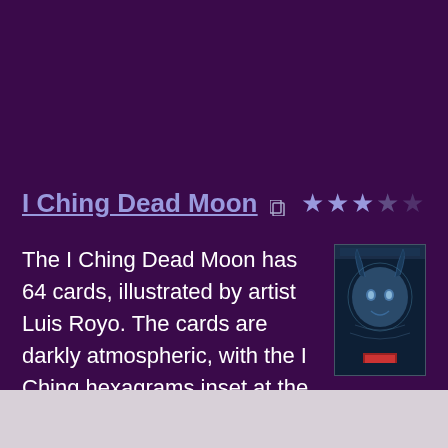I Ching Dead Moon
The I Ching Dead Moon has 64 cards, illustrated by artist Luis Royo. The cards are darkly atmospheric, with the I Ching hexagrams inset at the base of each card. There are also 15 instruction cards included with the deck, explaining the I Ching and the hexagram meanings.
[Figure (illustration): Book/card cover image showing a dark fantasy illustration with a demonic face and blue tones, with a red rectangle at the base]
I Ching of the Goddess